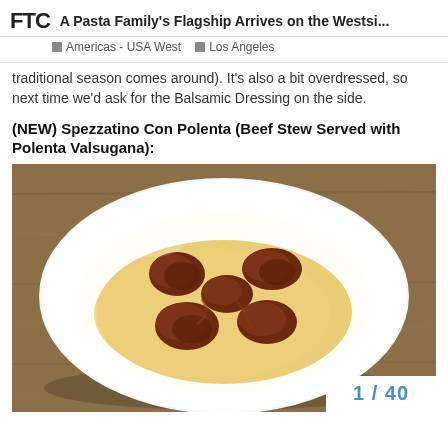FTC  A Pasta Family's Flagship Arrives on the Westsi...  Americas - USA West  Los Angeles
traditional season comes around). It's also a bit overdressed, so next time we'd ask for the Balsamic Dressing on the side.
(NEW) Spezzatino Con Polenta (Beef Stew Served with Polenta Valsugana):
[Figure (photo): A white plate with beef stew pieces served over creamy polenta, placed on a wooden table surface.]
1 / 40